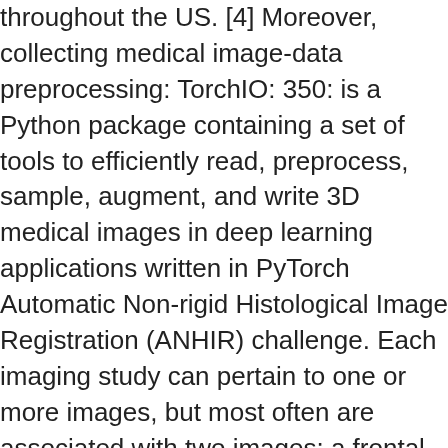throughout the US. [4] Moreover, collecting medical image-data preprocessing: TorchIO: 350: is a Python package containing a set of tools to efficiently read, preprocess, sample, augment, and write 3D medical images in deep learning applications written in PyTorch Automatic Non-rigid Histological Image Registration (ANHIR) challenge. Each imaging study can pertain to one or more images, but most often are associated with two images: a frontal view and a lateral view. On the Hounsfield scale, air is represented by a value of −1000 (black on the grey scale) and bone between +300 (cancellous bone) to +3000 (dense bone) (white on the grey scale), water has a value of 0 HUs and metals have a much … Additional images available by request, and links to several other mammography databases are provided, NLM HyperDoc Visible Human Project